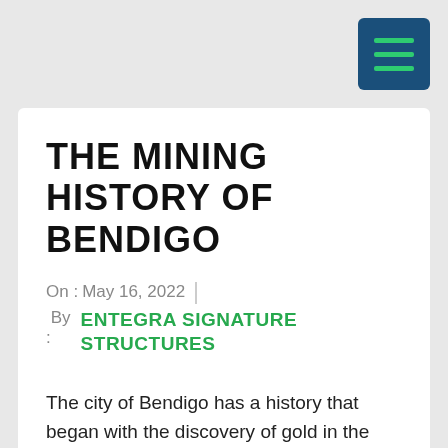[Figure (other): Dark blue hamburger menu button with three green horizontal lines, positioned top right corner]
THE MINING HISTORY OF BENDIGO
On : May 16, 2022  By : ENTEGRA SIGNATURE STRUCTURES
The city of Bendigo has a history that began with the discovery of gold in the area in the 1850s. At the time of the discovery the location was part of the Ravenswood or Mt Alexander pastoral run.